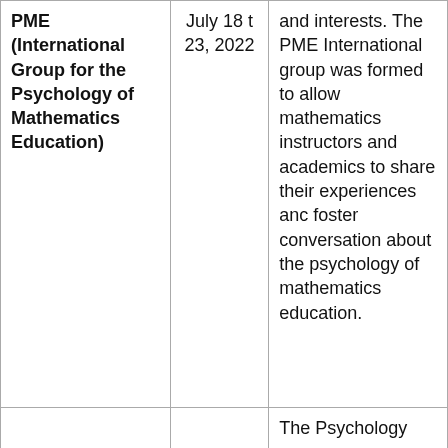| PME (International Group for the Psychology of Mathematics Education) | July 18 t 23, 2022 | and interests. The PME International group was formed to allow mathematics instructors and academics to share their experiences anc foster conversation about the psychology of mathematics education. |
|  |  | The Psychology |